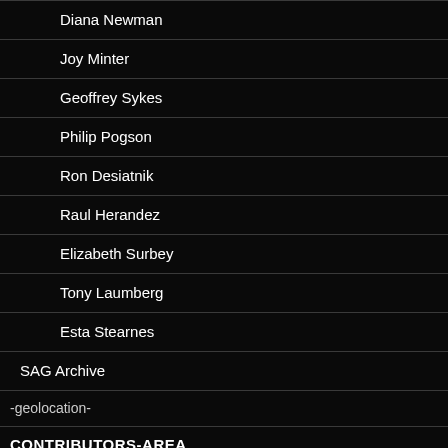Diana Newman
Joy Minter
Geoffrey Sykes
Philip Pogson
Ron Desiatnik
Raul Herandez
Elizabeth Surbey
Tony Laumberg
Esta Stearnes
SAG Archive
-geolocation-
CONTRIBUTORS-AREA